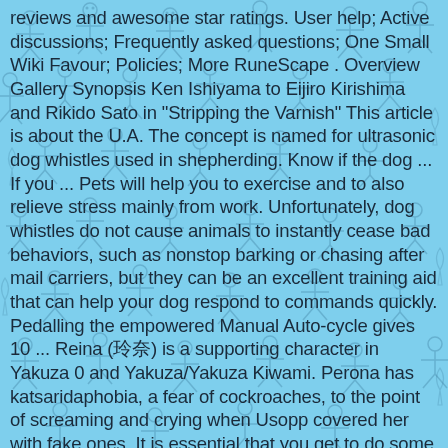reviews and awesome star ratings. User help; Active discussions; Frequently asked questions; One Small Wiki Favour; Policies; More RuneScape . Overview Gallery Synopsis Ken Ishiyama to Eijiro Kirishima and Rikido Sato in "Stripping the Varnish" This article is about the U.A. The concept is named for ultrasonic dog whistles used in shepherding. Know if the dog ... If you ... Pets will help you to exercise and to also relieve stress mainly from work. Unfortunately, dog whistles do not cause animals to instantly cease bad behaviors, such as nonstop barking or chasing after mail carriers, but they can be an excellent training aid that can help your dog respond to commands quickly. Pedalling the empowered Manual Auto-cycle gives 10 ... Reina (玲奈) is a supporting character in Yakuza 0 and Yakuza/Yakuza Kiwami. Perona has katsaridaphobia, a fear of cockroaches, to the point of screaming and crying when Usopp covered her with fake ones. It is essential that you get to do some research. Monkey. You can have it at your home or his station. As of February 5, 2021, the Global/EN server have 143 out of